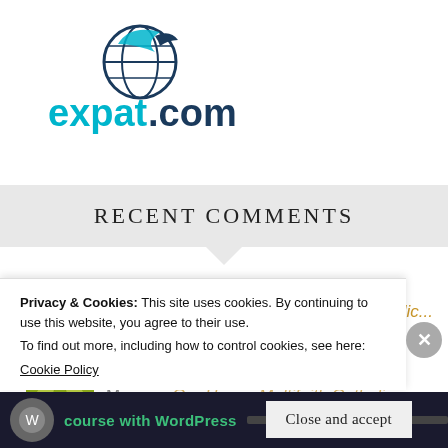[Figure (logo): expat.com logo with globe/bird icon and cyan text]
RECENT COMMENTS
rkolivers on Our Happy Multifaith Catholic...
Mary on Our Happy Multifaith Catholic...
Privacy & Cookies: This site uses cookies. By continuing to use this website, you agree to their use.
To find out more, including how to control cookies, see here:
Cookie Policy
Close and accept
[Figure (screenshot): Bottom advertisement bar showing 'course with WordPress' text in green on dark background]